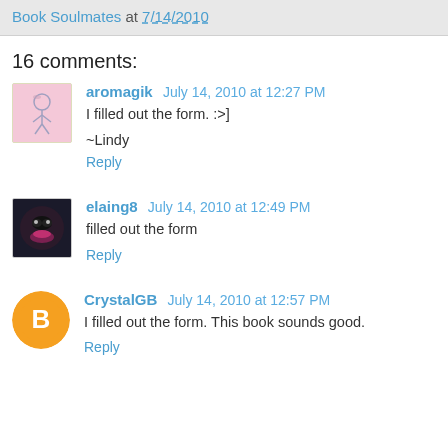Book Soulmates at 7/14/2010
16 comments:
aromagik  July 14, 2010 at 12:27 PM
I filled out the form. :>]
~Lindy
Reply
elaing8  July 14, 2010 at 12:49 PM
filled out the form
Reply
CrystalGB  July 14, 2010 at 12:57 PM
I filled out the form. This book sounds good.
Reply